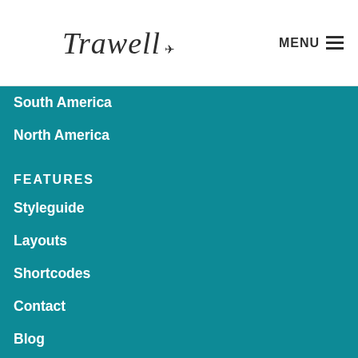Trawell MENU
South America
North America
FEATURES
Styleguide
Layouts
Shortcodes
Contact
Blog
NEWSLETTER
Make sure to subscribe to our newsletter and be the first to know the news.